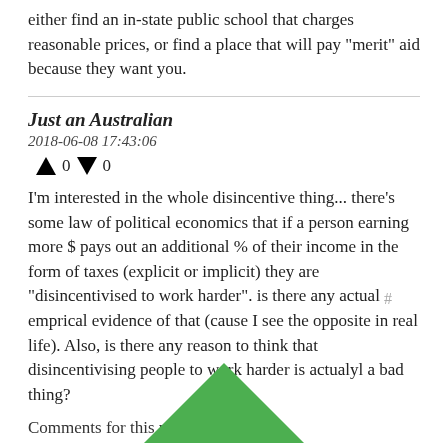either find an in-state public school that charges reasonable prices, or find a place that will pay "merit" aid because they want you.
Just an Australian
2018-06-08 17:43:06
↑ 0 ↓ 0
I'm interested in the whole disincentive thing... there's some law of political economics that if a person earning more $ pays out an additional % of their income in the form of taxes (explicit or implicit) they are "disincentivised to work harder". is there any actual emprical evidence of that (cause I see the opposite in real life). Also, is there any reason to think that disincentivising people to work harder is actualyl a bad thing?
Comments for this post are closed